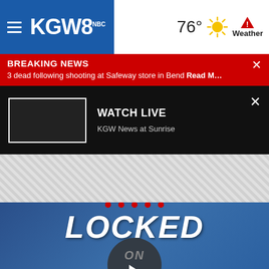KGW8 — 76° Weather
BREAKING NEWS
3 dead following shooting at Safeway store in Bend Read M...
WATCH LIVE
KGW News at Sunrise
[Figure (screenshot): LOCKED ON video thumbnail with play button overlay on blue background]